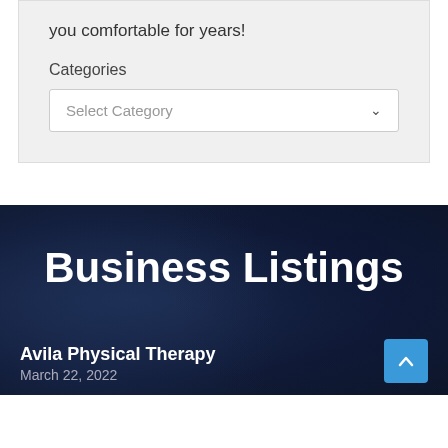you comfortable for years!
Categories
Select Category
Business Listings
Avila Physical Therapy
March 22, 2022